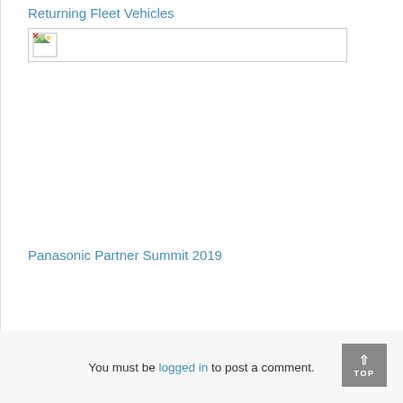Returning Fleet Vehicles
[Figure (photo): Broken/unloaded image placeholder with small broken image icon at top-left]
Panasonic Partner Summit 2019
You must be logged in to post a comment.